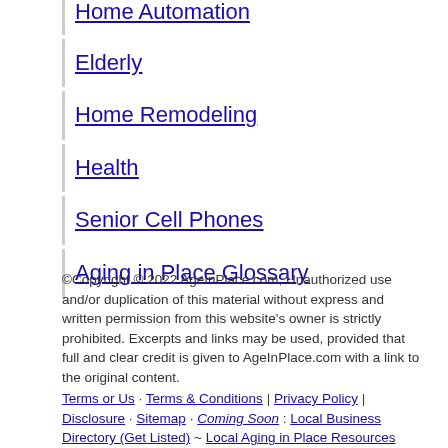Home Automation
Elderly
Home Remodeling
Health
Senior Cell Phones
Aging in Place Glossary
©Copyright © 2022 AgeInPlace.com, Unauthorized use and/or duplication of this material without express and written permission from this website's owner is strictly prohibited. Excerpts and links may be used, provided that full and clear credit is given to AgeInPlace.com with a link to the original content. Terms or Us · Terms & Conditions | Privacy Policy | Disclosure · Sitemap · Coming Soon : Local Business Directory (Get Listed) ~ Local Aging in Place Resources